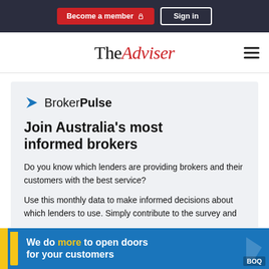Become a member  Sign in
TheAdviser
[Figure (logo): BrokerPulse logo with blue arrow icon and text 'BrokerPulse']
Join Australia's most informed brokers
Do you know which lenders are providing brokers and their customers with the best service?
Use this monthly data to make informed decisions about which lenders to use. Simply contribute to the survey and
[Figure (illustration): BOQ advertisement banner: 'We do more to open doors for your customers' with yellow and blue branding]